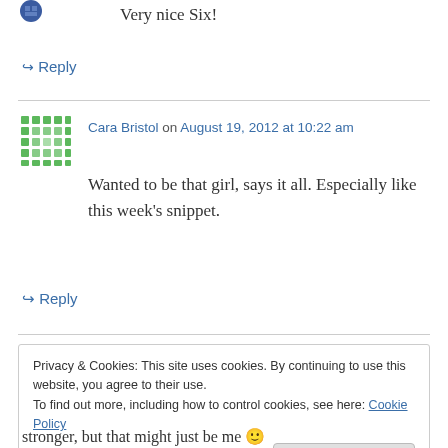[Figure (illustration): Small blue circular avatar icon at top left]
Very nice Six!
↪ Reply
[Figure (illustration): Green pixelated/mosaic square avatar for Cara Bristol]
Cara Bristol on August 19, 2012 at 10:22 am
Wanted to be that girl, says it all. Especially like this week's snippet.
↪ Reply
Privacy & Cookies: This site uses cookies. By continuing to use this website, you agree to their use.
To find out more, including how to control cookies, see here: Cookie Policy
Close and accept
stronger, but that might just be me 🙂